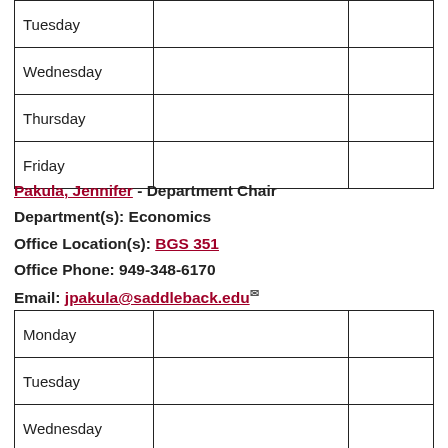| Tuesday |  |  |
| Wednesday |  |  |
| Thursday |  |  |
| Friday |  |  |
Pakula, Jennifer - Department Chair
Department(s): Economics
Office Location(s): BGS 351
Office Phone: 949-348-6170
Email: jpakula@saddleback.edu
| Monday |  |  |
| Tuesday |  |  |
| Wednesday |  |  |
| Thursday |  |  |
| Friday |  |  |